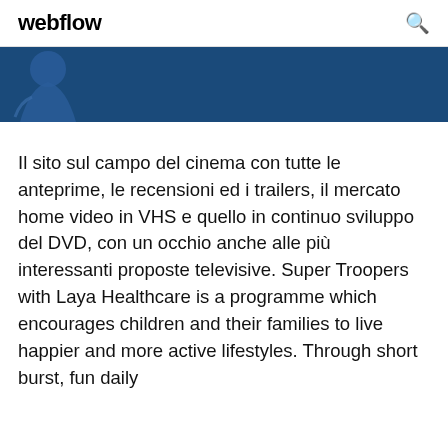webflow
[Figure (illustration): Dark blue hero banner with a partial silhouette figure on the left side against a dark blue background]
Il sito sul campo del cinema con tutte le anteprime, le recensioni ed i trailers, il mercato home video in VHS e quello in continuo sviluppo del DVD, con un occhio anche alle più interessanti proposte televisive. Super Troopers with Laya Healthcare is a programme which encourages children and their families to live happier and more active lifestyles. Through short burst, fun daily